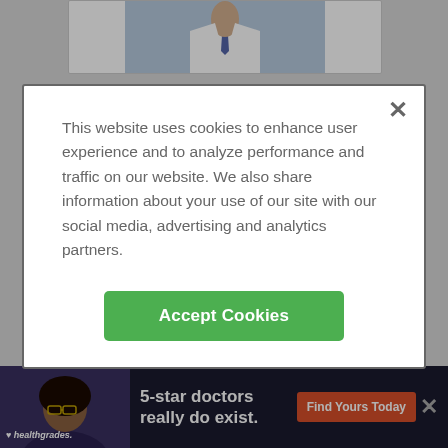[Figure (screenshot): Background page showing a doctor profile page on a medical website (healthgrades-style), with a doctor photo at top and Dr. Elaine Lin's card below, plus a healthgrades advertisement banner at the bottom.]
This website uses cookies to enhance user experience and to analyze performance and traffic on our website. We also share information about your use of our site with our social media, advertising and analytics partners.
Accept Cookies
Dr. Elaine Lin, MD
1 reviews
ADVERTISEMENT
Learn More
5-star doctors really do exist.
Find Yours Today